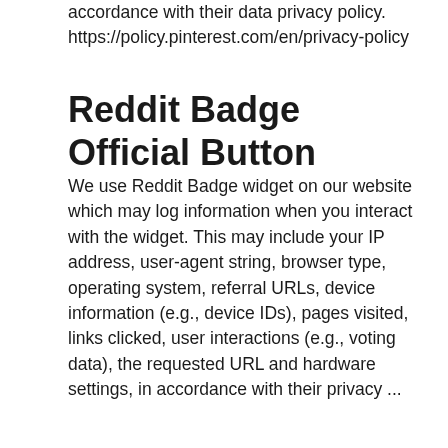accordance with their data privacy policy. https://policy.pinterest.com/en/privacy-policy
Reddit Badge Official Button
We use Reddit Badge widget on our website which may log information when you interact with the widget. This may include your IP address, user-agent string, browser type, operating system, referral URLs, device information (e.g., device IDs), pages visited, links clicked, user interactions (e.g., voting data), the requested URL and hardware settings, in accordance with their privacy ...